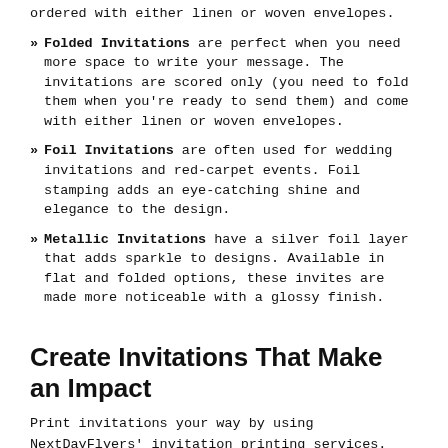ordered with either linen or woven envelopes.
Folded Invitations are perfect when you need more space to write your message. The invitations are scored only (you need to fold them when you're ready to send them) and come with either linen or woven envelopes.
Foil Invitations are often used for wedding invitations and red-carpet events. Foil stamping adds an eye-catching shine and elegance to the design.
Metallic Invitations have a silver foil layer that adds sparkle to designs. Available in flat and folded options, these invites are made more noticeable with a glossy finish.
Create Invitations That Make an Impact
Print invitations your way by using NextDayFlyers' invitation printing services. You can upload your own artwork, create your design online, or use one of our templates.
Our invitation templates fit a variety of themes and occasions. See available invitation templates by clicking on the Templates